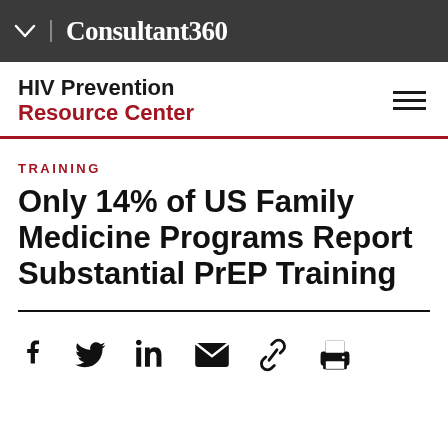Consultant360
HIV Prevention Resource Center
TRAINING
Only 14% of US Family Medicine Programs Report Substantial PrEP Training
[Figure (other): Social sharing icons row: Facebook, Twitter, LinkedIn, Email, Link, Print]